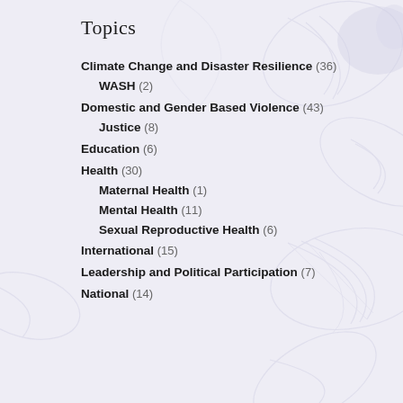Topics
Climate Change and Disaster Resilience (36)
WASH (2)
Domestic and Gender Based Violence (43)
Justice (8)
Education (6)
Health (30)
Maternal Health (1)
Mental Health (11)
Sexual Reproductive Health (6)
International (15)
Leadership and Political Participation (7)
National (14)